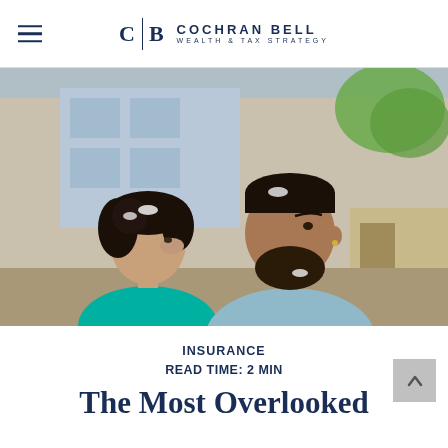CB COCHRAN BELL WEALTH & TAX STRATEGY
[Figure (photo): A couple standing outdoors near a building. A woman with curly dark hair wearing a teal top looks to the right, and a man with a beard wearing a light blue sweatshirt looks forward. There is snow on their hair. A building and greenery are visible in the background.]
INSURANCE
READ TIME: 2 MIN
The Most Overlooked